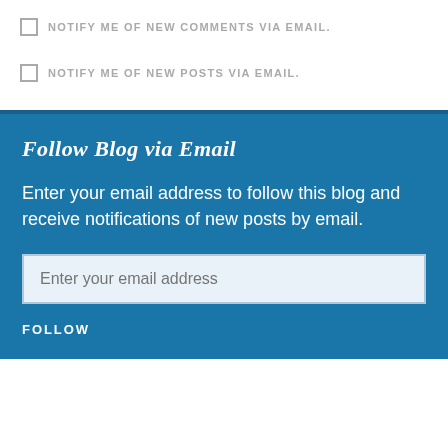NOTIFY ME OF NEW COMMENTS VIA EMAIL.
NOTIFY ME OF NEW POSTS VIA EMAIL.
Follow Blog via Email
Enter your email address to follow this blog and receive notifications of new posts by email.
Enter your email address
FOLLOW